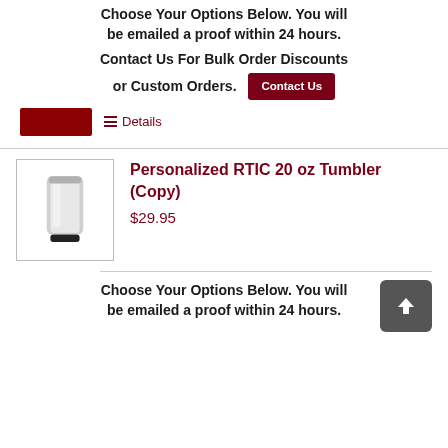Choose Your Options Below. You will be emailed a proof within 24 hours. Contact Us For Bulk Order Discounts or Custom Orders.
Details
[Figure (photo): Thumbnail image of a stainless steel RTIC 20 oz tumbler]
Personalized RTIC 20 oz Tumbler (Copy)
$29.95
Choose Your Options Below. You will be emailed a proof within 24 hours.